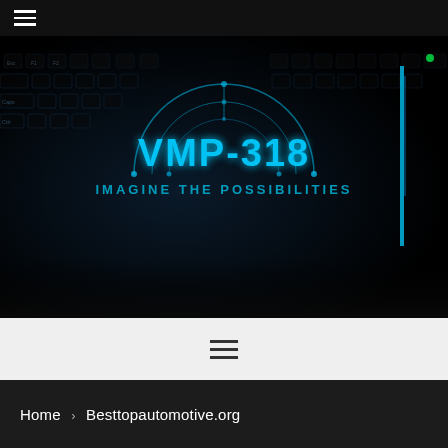Navigation menu icon (hamburger)
[Figure (photo): Dark gaming keyboard with RGB lighting and VMP-318 logo overlay with tagline 'IMAGINE THE POSSIBILITIES']
Menu icon (hamburger, three lines)
Home > Besttopautomotive.org